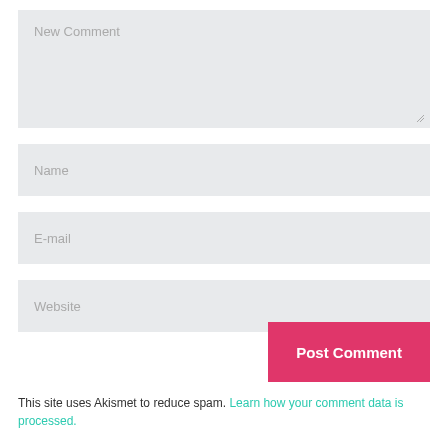[Figure (screenshot): Web comment form with textarea labeled 'New Comment', input fields for 'Name', 'E-mail', 'Website', a pink 'Post Comment' button, and an Akismet spam notice.]
This site uses Akismet to reduce spam. Learn how your comment data is processed.